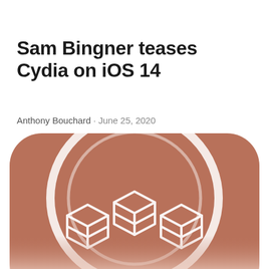Sam Bingner teases Cydia on iOS 14
Anthony Bouchard · June 25, 2020
[Figure (logo): Cydia app icon — rounded square with copper/terracotta brown background, white circle outline, and white 3D box/package logo mark in the center]